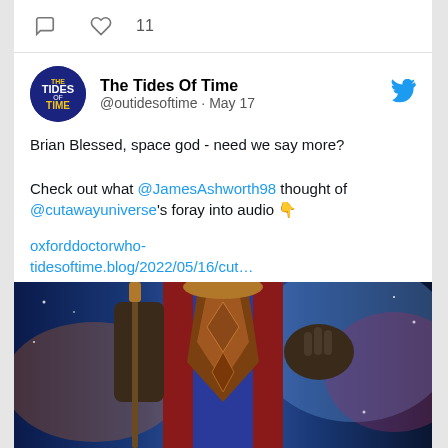♡ 11
The Tides Of Time @outidesoftime · May 17
Brian Blessed, space god - need we say more?

Check out what @JamesAshworth98 thought of @cutawayuniverse's foray into audio 👇

oxforddoctorwho-tidesoftime.blog/2022/05/16/cut…
[Figure (photo): A figure in an elaborate cosmic costume with blue cape and ornate brown chest piece, holding a staff, with cosmic nebula background — appears to be a sci-fi or fantasy character art]